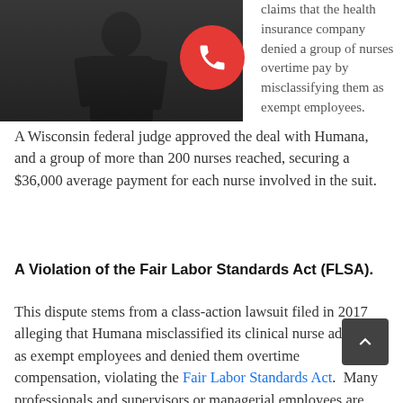[Figure (photo): Dark silhouette photo of a person in a suit]
claims that the health insurance company denied a group of nurses overtime pay by misclassifying them as exempt employees. A Wisconsin federal judge approved the deal with Humana, and a group of more than 200 nurses reached, securing a $36,000 average payment for each nurse involved in the suit.
A Violation of the Fair Labor Standards Act (FLSA).
This dispute stems from a class-action lawsuit filed in 2017 alleging that Humana misclassified its clinical nurse advisers as exempt employees and denied them overtime compensation, violating the Fair Labor Standards Act.  Many professionals and supervisors or managerial employees are considered to be exempt from overtime laws.